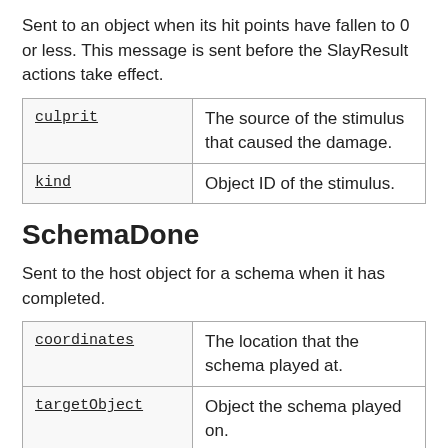Sent to an object when its hit points have fallen to 0 or less. This message is sent before the SlayResult actions take effect.
| culprit | The source of the stimulus that caused the damage. |
| kind | Object ID of the stimulus. |
SchemaDone
Sent to the host object for a schema when it has completed.
| coordinates | The location that the schema played at. |
| targetObject | Object the schema played on. |
| name | Name of the schema. |